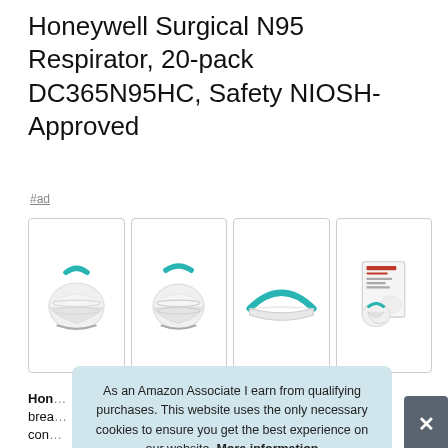Honeywell Surgical N95 Respirator, 20-pack DC365N95HC, Safety NIOSH-Approved
#ad
[Figure (photo): Four product images of Honeywell Surgical N95 Respirators: front view, front-angle view, side profile showing teal nose piece, and packaging with mask]
Honeywell
breathable... comfortable...
As an Amazon Associate I earn from qualifying purchases. This website uses the only necessary cookies to ensure you get the best experience on our website. More information